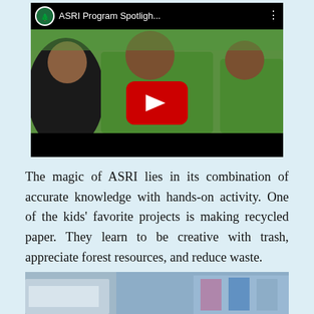[Figure (screenshot): YouTube video thumbnail showing 'ASRI Program Spotligh...' with children in green shirts sitting indoors. A red YouTube play button is overlaid in the center.]
The magic of ASRI lies in its combination of accurate knowledge with hands-on activity. One of the kids' favorite projects is making recycled paper. They learn to be creative with trash, appreciate forest resources, and reduce waste.
[Figure (photo): A partial photo strip at the bottom showing people and vehicles outdoors.]